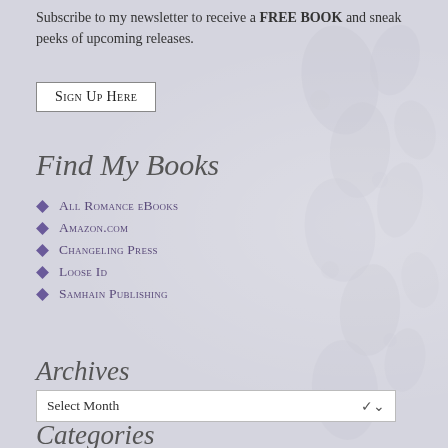Subscribe to my newsletter to receive a FREE BOOK and sneak peeks of upcoming releases.
Sign Up Here
Find My Books
All Romance eBooks
Amazon.com
Changeling Press
Loose Id
Samhain Publishing
Archives
Select Month
Categories